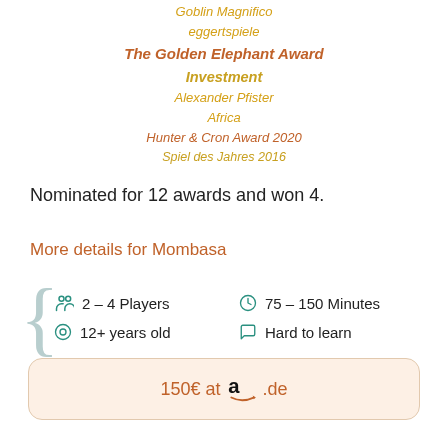[Figure (infographic): Award nominations list in a funnel/triangle arrangement with rotated text label on right side reading 'Deutscher Spielepreis 2016'. Lines include: Goblin Magnifico, eggertspiele, The Golden Elephant Award, Investment, Alexander Pfister, Africa, Hunter & Cron Award 2020, Spiel des Jahres 2016]
Nominated for 12 awards and won 4.
More details for Mombasa
2 – 4 Players
75 – 150 Minutes
12+ years old
Hard to learn
150€ at amazon.de